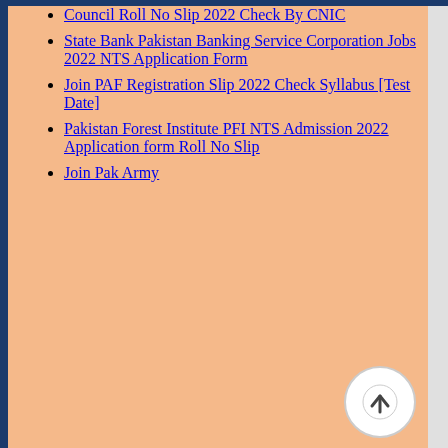Council Roll No Slip 2022 Check By CNIC
State Bank Pakistan Banking Service Corporation Jobs 2022 NTS Application Form
Join PAF Registration Slip 2022 Check Syllabus [Test Date]
Pakistan Forest Institute PFI NTS Admission 2022 Application form Roll No Slip
Join Pak Army